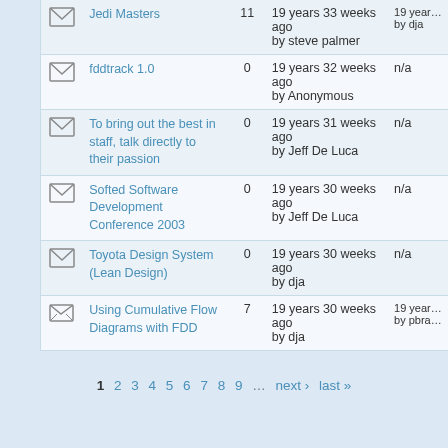|  | Title | Replies | Last Post | Last Reply |
| --- | --- | --- | --- | --- |
| [icon] | Jedi Masters | 11 | 19 years 33 weeks ago
by steve palmer | 19 years…
by dja |
| [icon] | fddtrack 1.0 | 0 | 19 years 32 weeks ago
by Anonymous | n/a |
| [icon] | To bring out the best in staff, talk directly to their passion | 0 | 19 years 31 weeks ago
by Jeff De Luca | n/a |
| [icon] | Softed Software Development Conference 2003 | 0 | 19 years 30 weeks ago
by Jeff De Luca | n/a |
| [icon] | Toyota Design System (Lean Design) | 0 | 19 years 30 weeks ago
by dja | n/a |
| [icon] | Using Cumulative Flow Diagrams with FDD | 7 | 19 years 30 weeks ago
by dja | 19 years…
by pbra… |
1 2 3 4 5 6 7 8 9 … next › last »